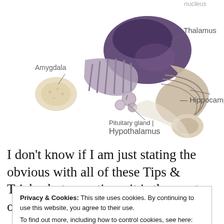[Figure (illustration): Anatomical illustration of limbic system brain structures including Amygdala, Thalamus, Hippocampus, Pituitary gland, and Hypothalamus with leader lines and labels. Partial 'nucleus' label visible at top right.]
I don’t know if I am just stating the obvious with all of these Tips & Tricks, but sometimes it is the most obvious things that we forget when
Privacy & Cookies: This site uses cookies. By continuing to use this website, you agree to their use.
To find out more, including how to control cookies, see here: Cookie Policy
Close and accept